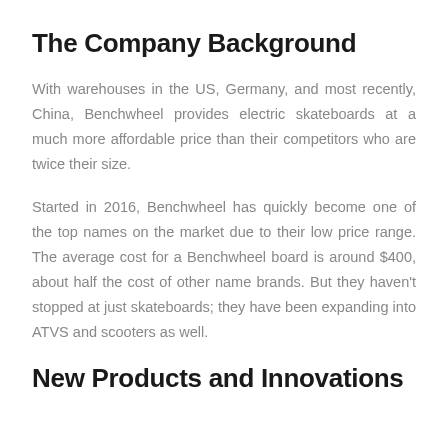The Company Background
With warehouses in the US, Germany, and most recently, China, Benchwheel provides electric skateboards at a much more affordable price than their competitors who are twice their size.
Started in 2016, Benchwheel has quickly become one of the top names on the market due to their low price range. The average cost for a Benchwheel board is around $400, about half the cost of other name brands. But they haven't stopped at just skateboards; they have been expanding into ATVS and scooters as well.
New Products and Innovations